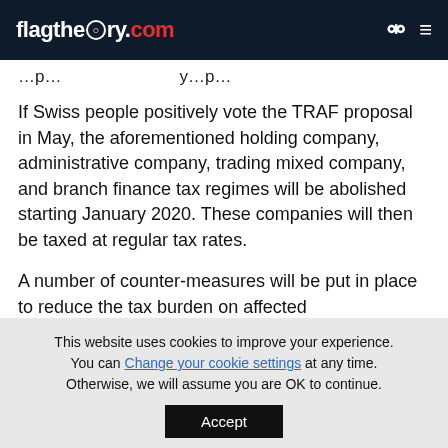flagtheory.com
...p...y...p...
If Swiss people positively vote the TRAF proposal in May, the aforementioned holding company, administrative company, trading mixed company, and branch finance tax regimes will be abolished starting January 2020. These companies will then be taxed at regular tax rates.
A number of counter-measures will be put in place to reduce the tax burden on affected...
This website uses cookies to improve your experience. You can Change your cookie settings at any time. Otherwise, we will assume you are OK to continue.